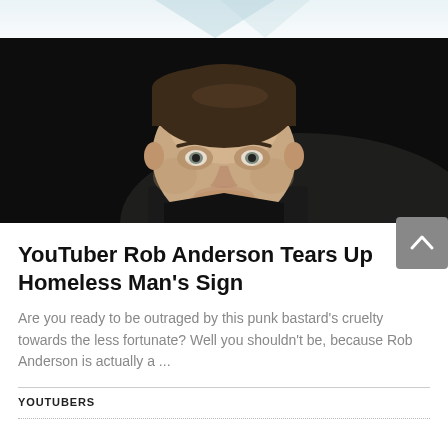[Figure (photo): Close-up photo of a young man with slicked-back brown hair against a dark background]
YouTuber Rob Anderson Tears Up Homeless Man's Sign
Are you ready to be outraged by this punk bastard's cruelty towards the less fortunate? Well you shouldn't be, because Rob Anderson is actually a ...
YOUTUBERS